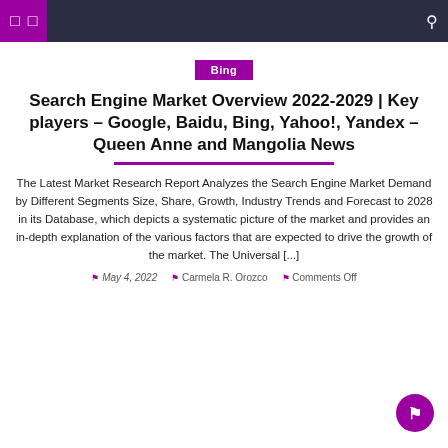Navigation bar with icons
Bing
Search Engine Market Overview 2022-2029 | Key players – Google, Baidu, Bing, Yahoo!, Yandex – Queen Anne and Mangolia News
The Latest Market Research Report Analyzes the Search Engine Market Demand by Different Segments Size, Share, Growth, Industry Trends and Forecast to 2028 in its Database, which depicts a systematic picture of the market and provides an in-depth explanation of the various factors that are expected to drive the growth of the market. The Universal [...]
May 4, 2022   Carmela R. Orozco   Comments Off